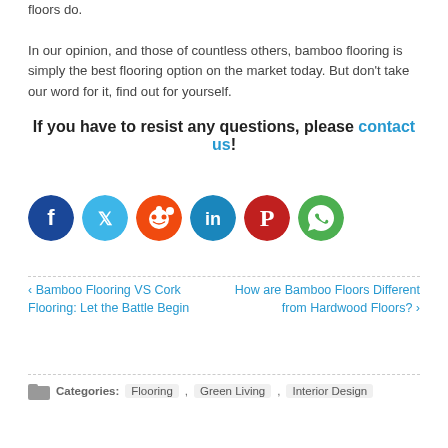floors do.
In our opinion, and those of countless others, bamboo flooring is simply the best flooring option on the market today. But don't take our word for it, find out for yourself.
If you have to resist any questions, please contact us!
[Figure (infographic): Social media share buttons: Facebook (dark blue), Twitter (light blue), Reddit (orange), LinkedIn (blue), Pinterest (red), WhatsApp (green)]
‹ Bamboo Flooring VS Cork Flooring: Let the Battle Begin
How are Bamboo Floors Different from Hardwood Floors? ›
Categories: Flooring , Green Living , Interior Design